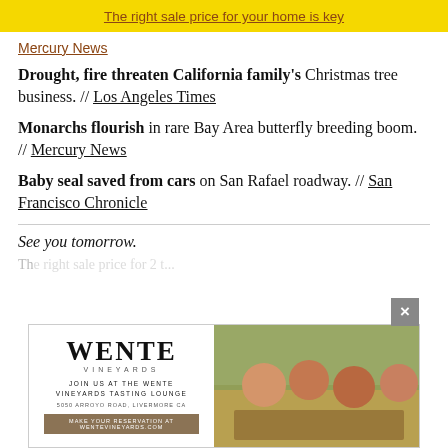The right sale price for your home is key
Mercury News
Drought, fire threaten California family's Christmas tree business. // Los Angeles Times
Monarchs flourish in rare Bay Area butterfly breeding boom. // Mercury News
Baby seal saved from cars on San Rafael roadway. // San Francisco Chronicle
See you tomorrow.
[Figure (other): Advertisement for Wente Vineyards Tasting Lounge showing logo, address (5050 Arroyo Road, Livermore CA), call to action (Make Your Reservation at WenteVineyards.com), and a photo of people dining outdoors.]